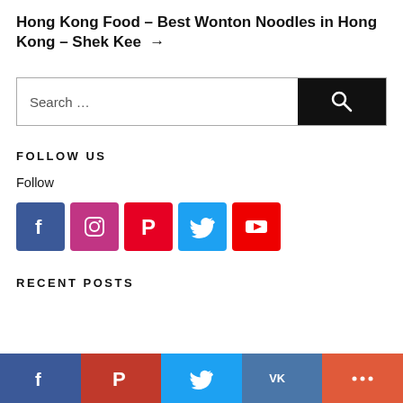Hong Kong Food – Best Wonton Noodles in Hong Kong – Shek Kee →
[Figure (screenshot): Search bar with text 'Search …' and a black search button with magnifying glass icon]
FOLLOW US
Follow
[Figure (infographic): Row of five social media icons: Facebook (blue), Instagram (pink/magenta), Pinterest (red), Twitter (light blue), YouTube (red)]
RECENT POSTS
[Figure (infographic): Bottom share bar with five sections: Facebook (dark blue), Pinterest (dark red), Twitter (light blue), VK (blue-grey), More (orange-red)]